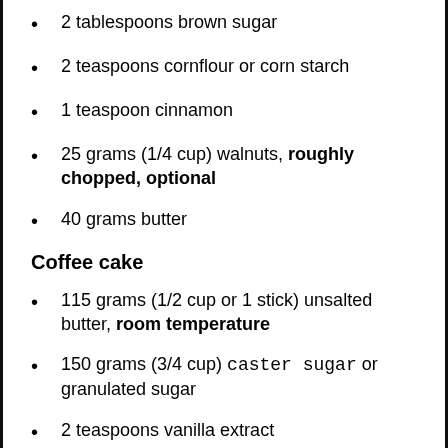2 tablespoons brown sugar
2 teaspoons cornflour or corn starch
1 teaspoon cinnamon
25 grams (1/4 cup) walnuts, roughly chopped, optional
40 grams butter
Coffee cake
115 grams (1/2 cup or 1 stick) unsalted butter, room temperature
150 grams (3/4 cup) caster sugar or granulated sugar
2 teaspoons vanilla extract
1 large egg, room temperature